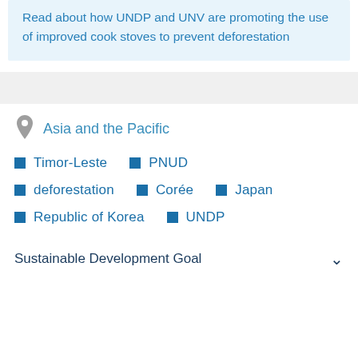Read about how UNDP and UNV are promoting the use of improved cook stoves to prevent deforestation
Asia and the Pacific
Timor-Leste
PNUD
deforestation
Corée
Japan
Republic of Korea
UNDP
Sustainable Development Goal